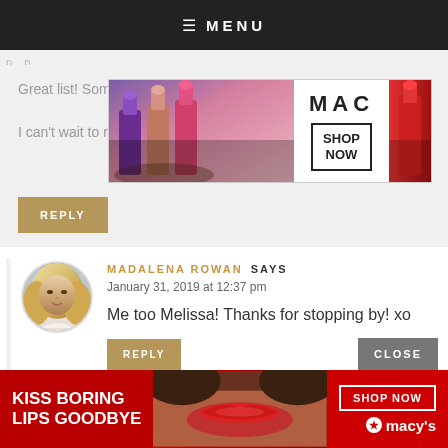≡ MENU
Great list! Something that will appeal to every woma[n]... I can't wait to read some of these.
[Figure (photo): MAC cosmetics advertisement showing colorful lipsticks and SHOP NOW button]
REPLY
[Figure (photo): Avatar photo of Madalena Rowan, a woman with blonde hair]
MADALENA ROWAN SAYS
January 31, 2019 at 12:37 pm
Me too Melissa! Thanks for stopping by! xo
REPLY
CLOSE
[Figure (photo): Macy's advertisement: KISS BORING LIPS GOODBYE with SHOP NOW button and Macy's star logo]